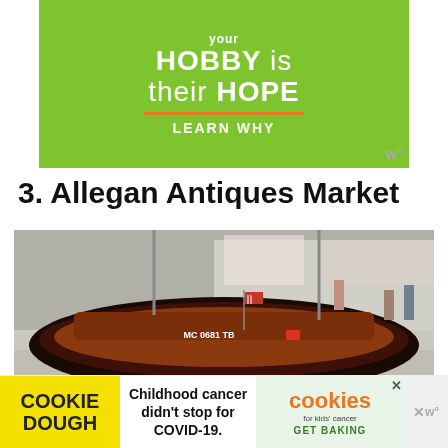[Figure (illustration): Green advertisement banner with white text reading 'your HOBBY is their HOPE' with an orange underline and 'LEARN WHY' in white bold text below]
3. Allegan Antiques Market
[Figure (photo): Outdoor antique market scene featuring a large vintage dark wooden boat labeled 'MC 0681 TB' on a trailer, with various antique furniture items including chairs and a suitcase visible around it, crowds of people in the background]
[Figure (illustration): Advertisement for Cookie Dough fundraiser for Cookies for Kids Cancer. Left yellow section reads 'COOKIE DOUGH', middle text reads 'Childhood cancer didn't stop for COVID-19.', right section shows Cookies for Kids Cancer logo with 'GET BAKING']